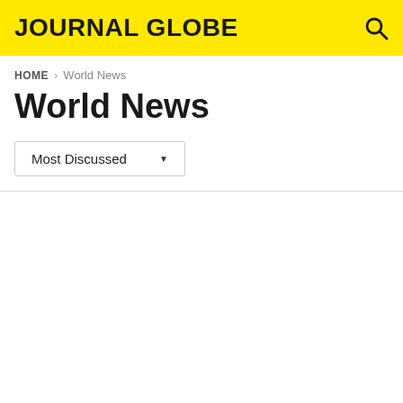JOURNAL GLOBE
HOME > World News
World News
Most Discussed